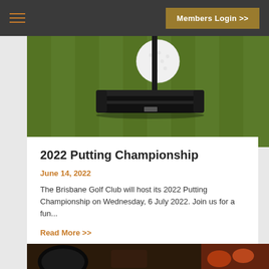Members Login >>
[Figure (photo): Close-up photo of a black golf putter resting on green artificial turf, with a white golf ball visible behind the putter head.]
2022 Putting Championship
June 14, 2022
The Brisbane Golf Club will host its 2022 Putting Championship on Wednesday, 6 July 2022. Join us for a fun...
Read More >>
[Figure (photo): Partial view of food items on a dark surface, bottom of page, cropped.]